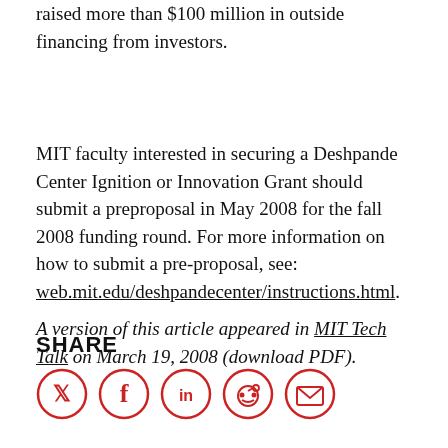raised more than $100 million in outside financing from investors.
MIT faculty interested in securing a Deshpande Center Ignition or Innovation Grant should submit a preproposal in May 2008 for the fall 2008 funding round. For more information on how to submit a pre-proposal, see: web.mit.edu/deshpandecenter/instructions.html.
A version of this article appeared in MIT Tech Talk on March 19, 2008 (download PDF).
SHARE
[Figure (infographic): Social media share icons: Twitter, Facebook, LinkedIn, Reddit, Email]